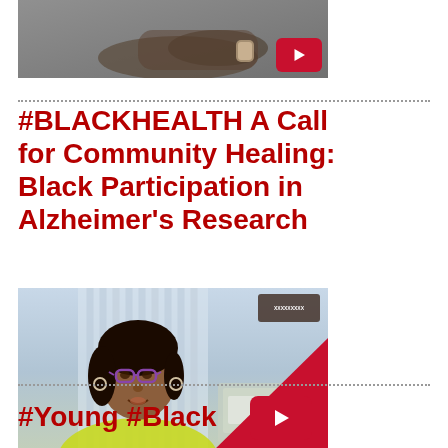[Figure (screenshot): Video thumbnail showing a person's hands, with a YouTube-style red play button in the bottom right corner]
#BLACKHEALTH A Call for Community Healing: Black Participation in Alzheimer's Research
[Figure (screenshot): Video thumbnail showing a Black woman with glasses and a yellow jacket sitting in front of window blinds, with a YouTube-style red play button in the bottom right corner]
#Young #Black